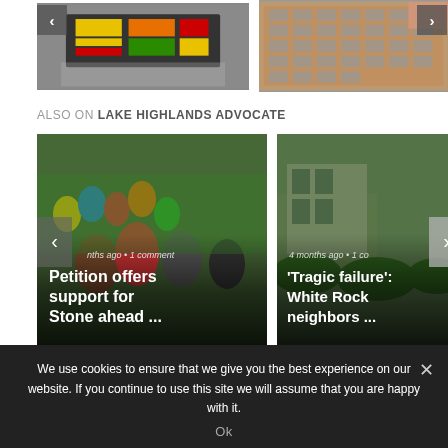[Figure (photo): Interior store shelf display with colorful products arranged in a large rectangular formation on the floor]
[Figure (photo): Exterior of a multi-story tan/beige office or apartment building]
ALSO ON LAKE HIGHLANDS ADVOCATE
[Figure (photo): People celebrating with balloons in a school or community setting, with overlay text: 'nths ago • 1 comment' and 'Petition offers support for Stone ahead ...']
[Figure (photo): Exterior house with shrubs, with overlay text: '4 months ago • 1 co' and ''Tragic failure': White Rock neighbors ...']
We use cookies to ensure that we give you the best experience on our website. If you continue to use this site we will assume that you are happy with it.
Ok